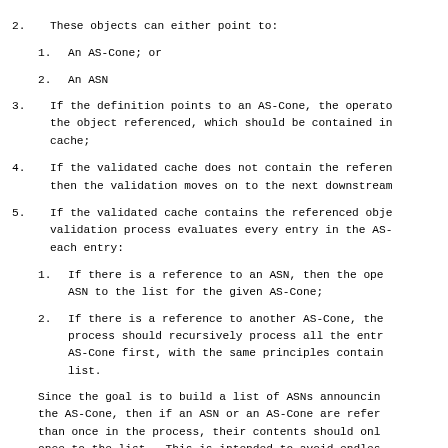2.  These objects can either point to:
1.  An AS-Cone; or
2.  An ASN
3.  If the definition points to an AS-Cone, the operator the object referenced, which should be contained in cache;
4.  If the validated cache does not contain the reference then the validation moves on to the next downstream
5.  If the validated cache contains the referenced object validation process evaluates every entry in the AS- each entry:
1.  If there is a reference to an ASN, then the operator ASN to the list for the given AS-Cone;
2.  If there is a reference to another AS-Cone, the process should recursively process all the entries AS-Cone first, with the same principles contained list.
Since the goal is to build a list of ASNs announcing the AS-Cone, then if an ASN or an AS-Cone are referred than once in the process, their contents should only once to the list.  This is intended to avoid endless